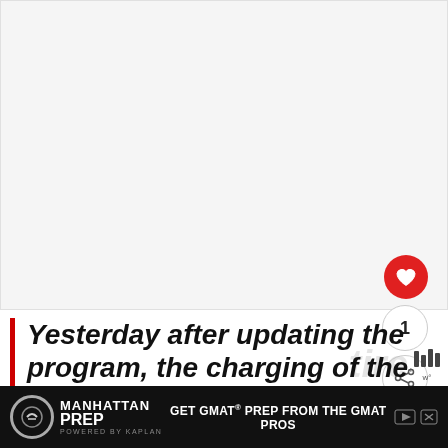[Figure (screenshot): Large light gray blank content area at the top of the page, representing an image or embedded content placeholder]
Yesterday after updating the program, the charging of the receiver changed slowly,
[Figure (screenshot): Manhattan Prep advertisement bar at the bottom: logo, GET GMAT PREP FROM THE GMAT PROS tagline, with ad controls]